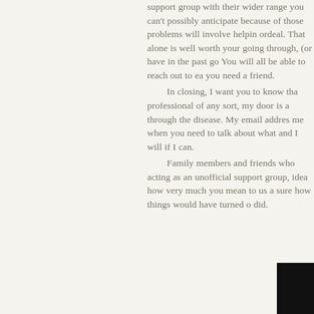support group with their wider range you can't possibly anticipate because of those problems will involve helping ordeal. That alone is well worth your going through, (or have in the past go You will all be able to reach out to ea you need a friend. In closing, I want you to know tha professional of any sort, my door is a through the disease. My email addres me when you need to talk about what and I will if I can. Family members and friends who acting as an unofficial support group, idea how very much you mean to us a sure how things would have turned o did.
[Figure (photo): A dark/black photograph partially visible in the bottom right corner of the page]